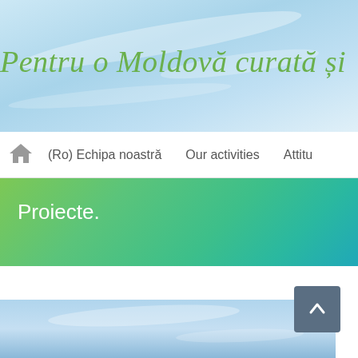[Figure (screenshot): Website header banner with sky/cloud background in light blue tones]
Pentru o Moldovă curată și
[Figure (screenshot): Navigation bar with home icon, (Ro) Echipa noastră, Our activities, Attitu... links]
Proiecte.
[Figure (photo): Blue sky with clouds photo at bottom of page]